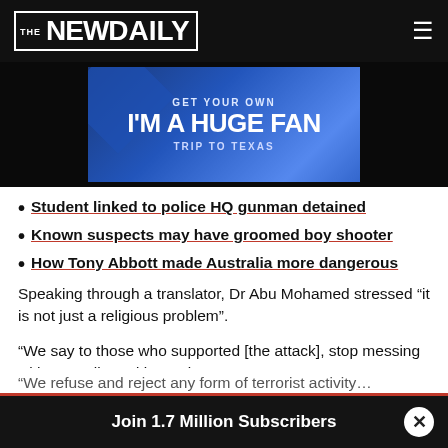THE NEW DAILY
[Figure (screenshot): Advertisement banner: GET YOUR OWN / I'M A HUGE FAN / TRIP TO TEXAS on blue gradient background]
Student linked to police HQ gunman detained
Known suspects may have groomed boy shooter
How Tony Abbott made Australia more dangerous
Speaking through a translator, Dr Abu Mohamed stressed “it is not just a religious problem”.
“We say to those who supported [the attack], stop messing with Australia and its society.
“We refuse and reject any form of terrorist activity…
Join 1.7 Million Subscribers